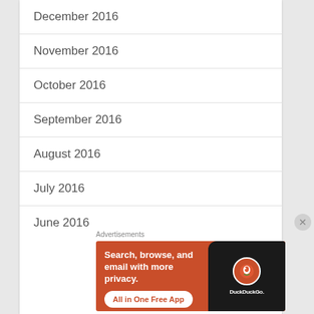December 2016
November 2016
October 2016
September 2016
August 2016
July 2016
June 2016
Advertisements
[Figure (illustration): DuckDuckGo advertisement banner: orange background with text 'Search, browse, and email with more privacy. All in One Free App' alongside a dark phone mockup with the DuckDuckGo logo and wordmark.]